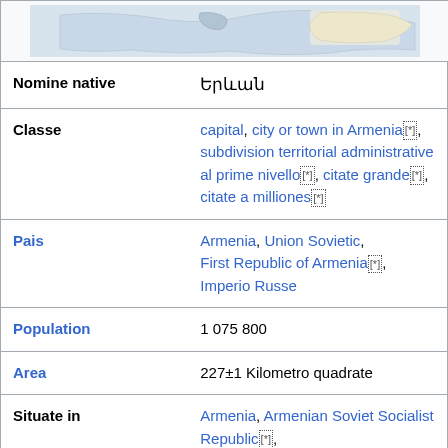[Figure (map): Partial map showing location of Yerevan, Armenia]
| Property | Value |
| --- | --- |
| Nomine native | Երևան |
| Classe | capital, city or town in Armenia[*], subdivision territorial administrative al prime nivello[*], citate grande[*], citate a milliones[*] |
| Pais | Armenia, Union Sovietic, First Republic of Armenia[*], Imperio Russe |
| Population | 1 075 800 |
| Area | 227±1 Kilometro quadrate |
| Situate in | Armenia, Armenian Soviet Socialist Republic[*], Armenian Oblast[*], |